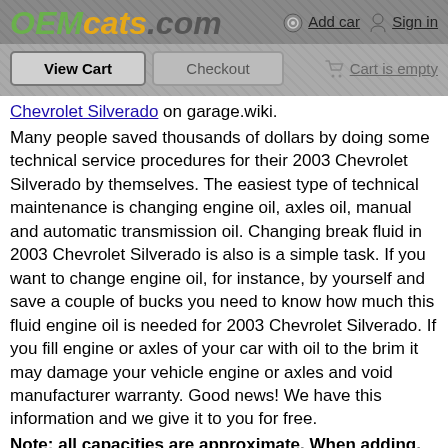OEMcats.com — Add car  Sign in
View Cart  Checkout  Cart is empty
Chevrolet Silverado on garage.wiki.
Many people saved thousands of dollars by doing some technical service procedures for their 2003 Chevrolet Silverado by themselves. The easiest type of technical maintenance is changing engine oil, axles oil, manual and automatic transmission oil. Changing break fluid in 2003 Chevrolet Silverado is also is a simple task. If you want to change engine oil, for instance, by yourself and save a couple of bucks you need to know how much this fluid engine oil is needed for 2003 Chevrolet Silverado. If you fill engine or axles of your car with oil to the brim it may damage your vehicle engine or axles and void manufacturer warranty. Good news! We have this information and we give it to you for free.
Note: all capacities are approximate. When adding, be